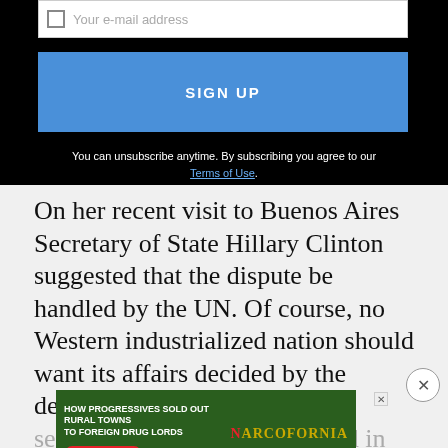[Figure (screenshot): Email signup form with checkbox, email placeholder input, blue SIGN UP button, and unsubscribe/terms text on black background]
On her recent visit to Buenos Aires Secretary of State Hillary Clinton suggested that the dispute be handled by the UN. Of course, no Western industrialized nation should want its affairs decided by the denizens of Turtle Bay. The secretary was on firmer ground in offering Washington's good offices as honest...ions.
[Figure (screenshot): Advertisement banner: HOW PROGRESSIVES SOLD OUT RURAL TOWNS TO FOREIGN DRUG LORDS - NARCOFORNIA - WATCH NOW]